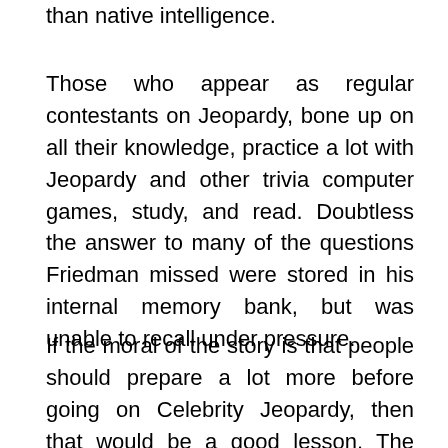than native intelligence.
Those who appear as regular contestants on Jeopardy, bone up on all their knowledge, practice a lot with Jeopardy and other trivia computer games, study, and read. Doubtless the answer to many of the questions Friedman missed were stored in his internal memory bank, but was unable to recall under pressure.
If the moral of the story is that people should prepare a lot more before going on Celebrity Jeopardy, then that would be a good lesson. The games are often dumbed down and the lack of